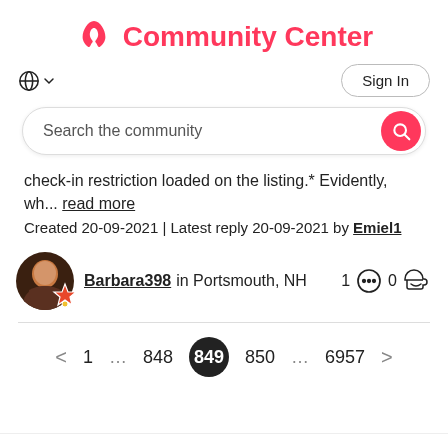Community Center
Sign In
Search the community
check-in restriction loaded on the listing.* Evidently, wh... read more
Created 20-09-2021 | Latest reply 20-09-2021 by Emiel1
Barbara398 in Portsmouth, NH   1  0
< 1 … 848 849 850 … 6957 >